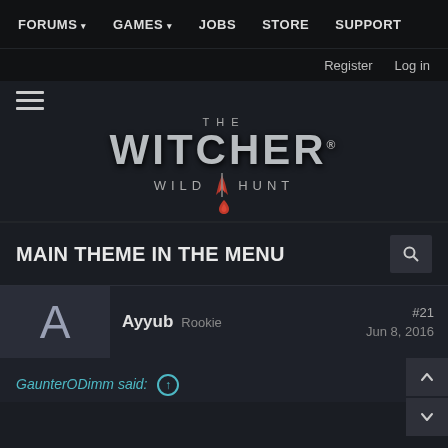FORUMS  GAMES  JOBS  STORE  SUPPORT
Register  Log in
[Figure (logo): The Witcher 3 Wild Hunt logo with hamburger menu icon]
MAIN THEME IN THE MENU
Ayyub  Rookie  #21  Jun 8, 2016
GaunterODimm said: ↑